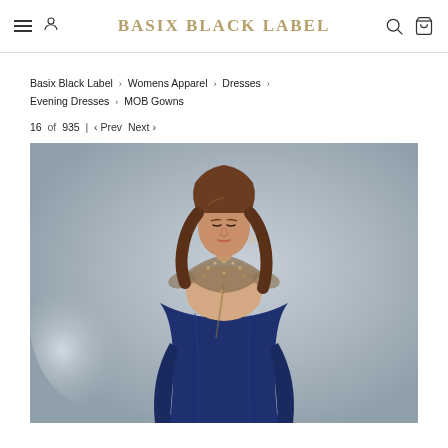BASIX BLACK LABEL
Basix Black Label › Womens Apparel › Dresses › Evening Dresses › MOB Gowns
16 of 935 | ‹ Prev  Next ›
[Figure (photo): A woman with long brown hair wearing a navy blue evening gown with a beaded lace neckline and cap sleeves, posing against a grey background]